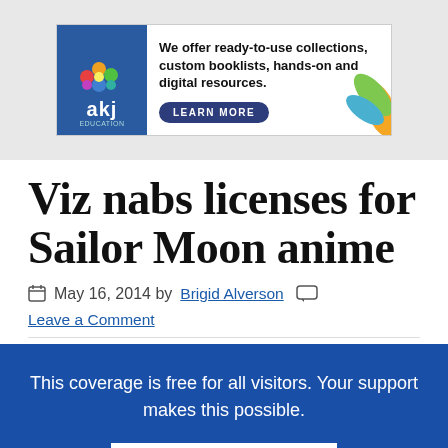[Figure (illustration): AKJ Education advertisement banner: logo with colorful flowers and 'akj education' text on blue background, bold text 'We offer ready-to-use collections, custom booklists, hands-on and digital resources.' with a 'LEARN MORE' button, and decorative leaf/plant graphics on the right.]
Viz nabs licenses for Sailor Moon anime
May 16, 2014 by Brigid Alverson   Leave a Comment
This coverage is free for all visitors. Your support makes this possible.